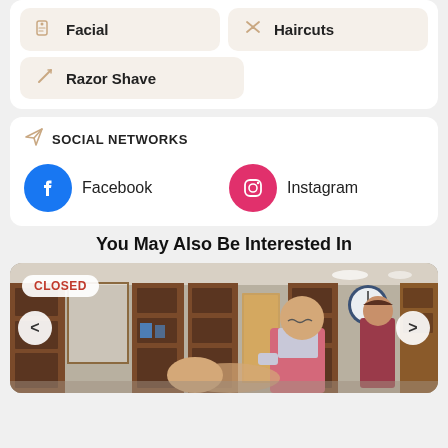Facial
Haircuts
Razor Shave
SOCIAL NETWORKS
Facebook
Instagram
You May Also Be Interested In
[Figure (photo): Interior of a barbershop with wooden shelving units and mirrors, a bald barber in a pink/magenta vest performing a shave or facial treatment on a reclined customer, with another person visible in the background. A CLOSED badge overlay is visible in the top-left corner. Navigation arrows are shown on left and right sides.]